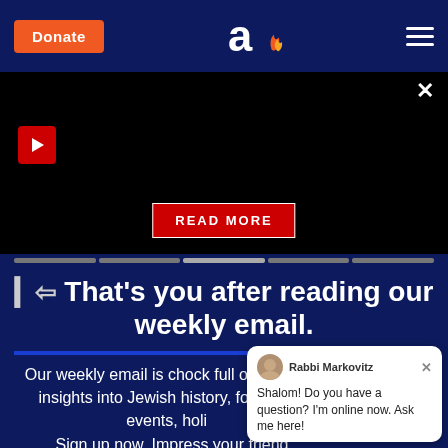Donate | Aish.com logo | Menu
[Figure (screenshot): Black video/ad panel with play button and READ MORE button]
That's you after reading our weekly email.
Our weekly email is chock full of interesting and relevant insights into Jewish history, food, philosophy, current events, holidays, and more. Sign up now. Impress your friends. Enlighten all you know.
[Figure (screenshot): Chat widget with Rabbi Markovitz avatar: 'Shalom! Do you have a question? I'm online now. Ask me here!']